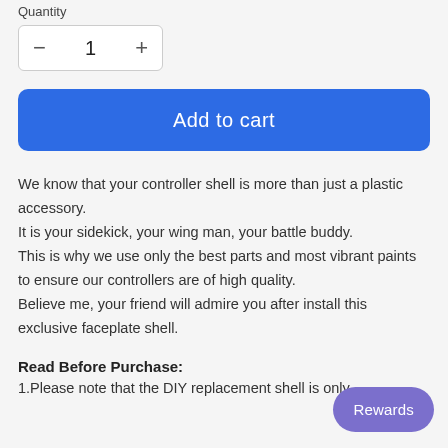Quantity
[Figure (other): Quantity selector with minus button, number 1, and plus button in a bordered box]
[Figure (other): Blue 'Add to cart' button]
We know that your controller shell is more than just a plastic accessory. It is your sidekick, your wing man, your battle buddy. This is why we use only the best parts and most vibrant paints to ensure our controllers are of high quality. Believe me, your friend will admire you after install this exclusive faceplate shell.
Read Before Purchase:
1.Please note that the DIY replacement shell is only
[Figure (other): Purple Rewards button in bottom right corner]